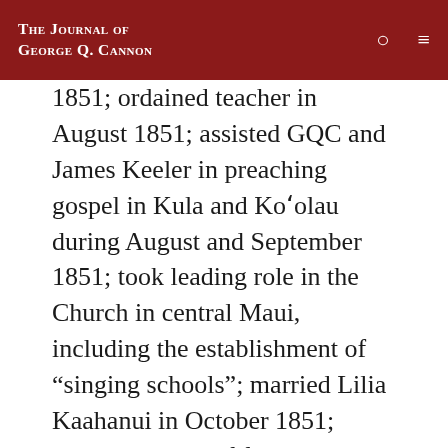The Journal of George Q. Cannon
1851; ordained teacher in August 1851; assisted GQC and James Keeler in preaching gospel in Kula and Koʻōlau during August and September 1851; took leading role in the Church in central Maui, including the establishment of “singing schools”; married Lilia Kaahanui in October 1851; served as clerk of first mission conference held in the islands in April 1852; appointed to assist Keeler in preaching the gospel from Honuaʻula to Kipahulu in August